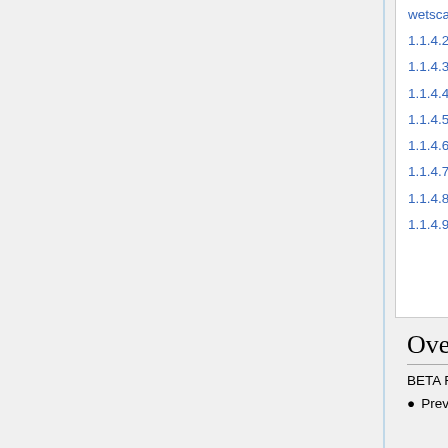1.1.4.2 GFED2 8 Day Bug Fix
1.1.4.3 Deposition Diagnostics Bug Fix
1.1.4.4 Loose ANISO convergence
1.1.4.5 Off Diagonal Covariance Bug Fix
1.1.4.6 LBFGS allocation Fix
1.1.4.7 Fixed undefined variables and openMP problems
1.1.4.8 HTAP Bug Fixes
1.1.4.9 Adjoint_Bugs
Overview
BETA RELEASE
Previous version: GEOS-